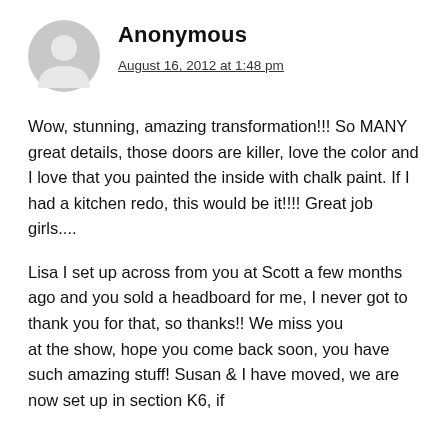[Figure (illustration): Gray anonymous user avatar icon, circular silhouette of a person]
Anonymous
August 16, 2012 at 1:48 pm
Wow, stunning, amazing transformation!!! So MANY great details, those doors are killer, love the color and I love that you painted the inside with chalk paint. If I had a kitchen redo, this would be it!!!! Great job girls....
Lisa I set up across from you at Scott a few months ago and you sold a headboard for me, I never got to thank you for that, so thanks!! We miss you
at the show, hope you come back soon, you have such amazing stuff! Susan & I have moved, we are now set up in section K6, if